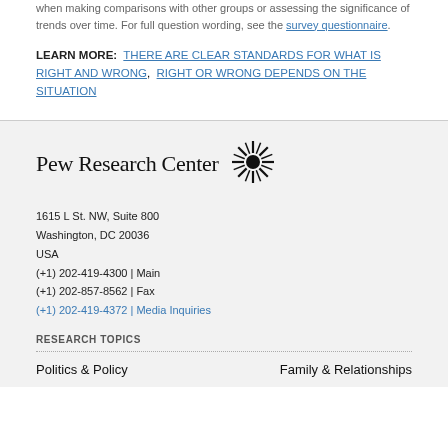when making comparisons with other groups or assessing the significance of trends over time. For full question wording, see the survey questionnaire.
LEARN MORE: THERE ARE CLEAR STANDARDS FOR WHAT IS RIGHT AND WRONG, RIGHT OR WRONG DEPENDS ON THE SITUATION
[Figure (logo): Pew Research Center logo with starburst icon]
1615 L St. NW, Suite 800
Washington, DC 20036
USA
(+1) 202-419-4300 | Main
(+1) 202-857-8562 | Fax
(+1) 202-419-4372 | Media Inquiries
RESEARCH TOPICS
Politics & Policy	Family & Relationships